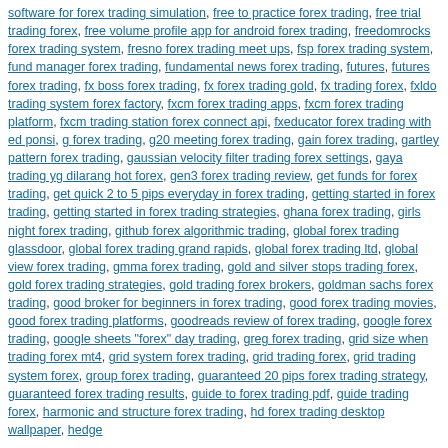software for forex trading simulation, free to practice forex trading, free trial trading forex, free volume profile app for android forex trading, freedomrocks forex trading system, fresno forex trading meet ups, fsp forex trading system, fund manager forex trading, fundamental news forex trading, futures, futures forex trading, fx boss forex trading, fx forex trading gold, fx trading forex, fxldo trading system forex factory, fxcm forex trading apps, fxcm forex trading platform, fxcm trading station forex connect api, fxeducator forex trading with ed ponsi, g forex trading, g20 meeting forex trading, gain forex trading, gartley pattern forex trading, gaussian velocity filter trading forex settings, gaya trading yg dilarang hot forex, gen3 forex trading review, get funds for forex trading, get quick 2 to 5 pips everyday in forex trading, getting started in forex trading, getting started in forex trading strategies, ghana forex trading, girls night forex trading, github forex algorithmic trading, global forex trading glassdoor, global forex trading grand rapids, global forex trading ltd, global view forex trading, gmma forex trading, gold and silver stops trading forex, gold forex trading strategies, gold trading forex brokers, goldman sachs forex trading, good broker for beginners in forex trading, good forex trading movies, good forex trading platforms, goodreads review of forex trading, google forex trading, google sheets "forex" day trading, greg forex trading, grid size when trading forex mt4, grid system forex trading, grid trading forex, grid trading system forex, group forex trading, guaranteed 20 pips forex trading strategy, guaranteed forex trading results, guide to forex trading pdf, guide trading forex, harmonic and structure forex trading, hd forex trading desktop wallpaper, hedge